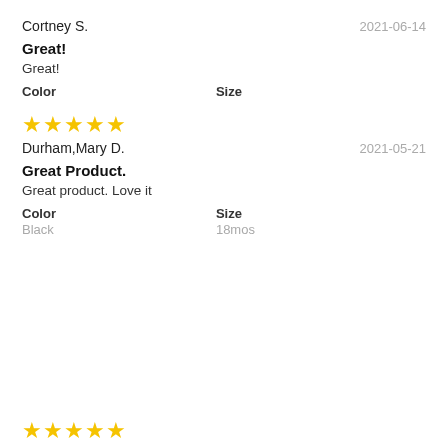Cortney S.
2021-06-14
Great!
Great!
Color
Size
[Figure (other): Five yellow star rating icons]
Durham,Mary D.
2021-05-21
Great Product.
Great product. Love it
Color
Size
Black
18mos
[Figure (other): Five yellow star rating icons (partially visible at bottom)]